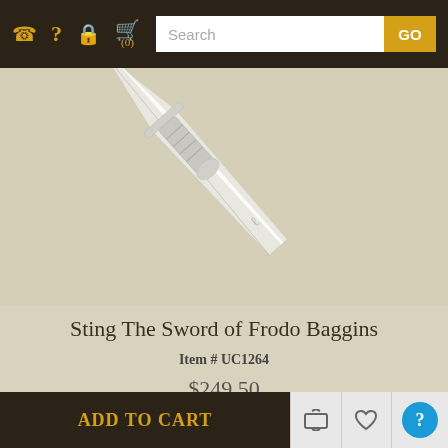Navigation bar with phone, help, lock, cart (0) icons and Search input with GO button
[Figure (photo): Product photo of Sting The Sword of Frodo Baggins — a silver/white elvish short sword shown diagonally on a beige/tan textured background. The blade is slim and elegant, pointing toward the lower-left.]
Sting The Sword of Frodo Baggins
Item # UC1264
$249.50
ADD TO CART | share icon | heart/wishlist icon | help circle icon